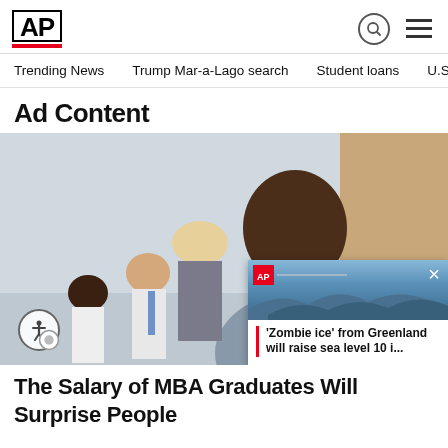AP
Trending News · Trump Mar-a-Lago search · Student loans · U.S
Ad Content
[Figure (photo): Photo of professionals in an office setting; a Black man in foreground with coworkers in background. An accessibility icon is in the bottom-left corner. A popup news card overlays the bottom-right showing an image and headline 'Zombie ice from Greenland will raise sea level 10 i...']
The Salary of MBA Graduates Will Surprise People